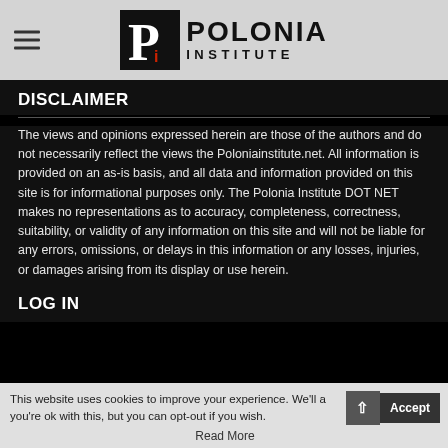Polonia Institute
DISCLAIMER
The views and opinions expressed herein are those of the authors and do not necessarily reflect the views the Poloniainstitute.net. All information is provided on an as-is basis, and all data and information provided on this site is for informational purposes only. The Polonia Institute DOT NET makes no representations as to accuracy, completeness, correctness, suitability, or validity of any information on this site and will not be liable for any errors, omissions, or delays in this information or any losses, injuries, or damages arising from its display or use herein.
LOG IN
This website uses cookies to improve your experience. We'll assume you're ok with this, but you can opt-out if you wish. Read More